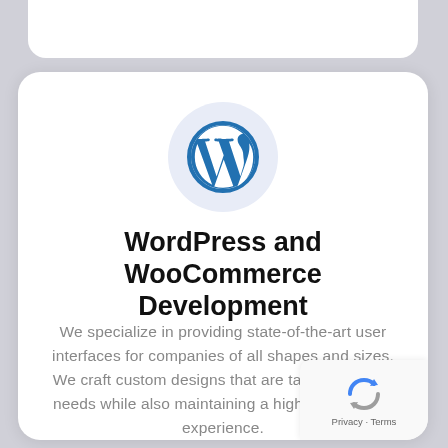[Figure (logo): WordPress logo (blue W in circle) inside a light blue circular background]
WordPress and WooCommerce Development
We specialize in providing state-of-the-art user interfaces for companies of all shapes and sizes. We craft custom designs that are tailored to your needs while also maintaining a high level of user experience.
[Figure (logo): Google reCAPTCHA badge with rotating arrows icon and Privacy · Terms text]